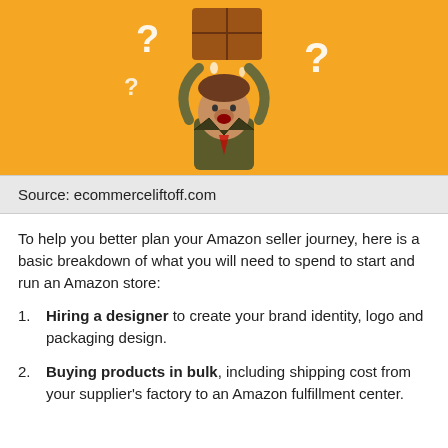[Figure (illustration): Cartoon of a stressed businessman holding a large box overhead with question marks on an orange background]
Source: ecommerceliftoff.com
To help you better plan your Amazon seller journey, here is a basic breakdown of what you will need to spend to start and run an Amazon store:
Hiring a designer to create your brand identity, logo and packaging design.
Buying products in bulk, including shipping cost from your supplier's factory to an Amazon fulfillment center.